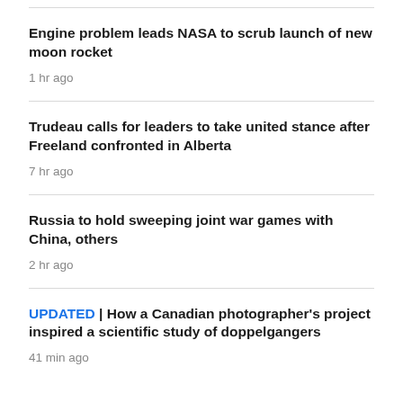Engine problem leads NASA to scrub launch of new moon rocket
1 hr ago
Trudeau calls for leaders to take united stance after Freeland confronted in Alberta
7 hr ago
Russia to hold sweeping joint war games with China, others
2 hr ago
UPDATED | How a Canadian photographer's project inspired a scientific study of doppelgangers
41 min ago